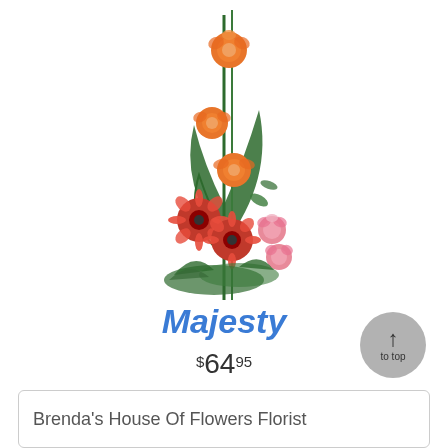[Figure (photo): Tall floral arrangement with orange roses, red gerbera daisies, pink carnations, and long green leaves/stems on a white background]
Majesty
$64.95
Brenda's House Of Flowers Florist